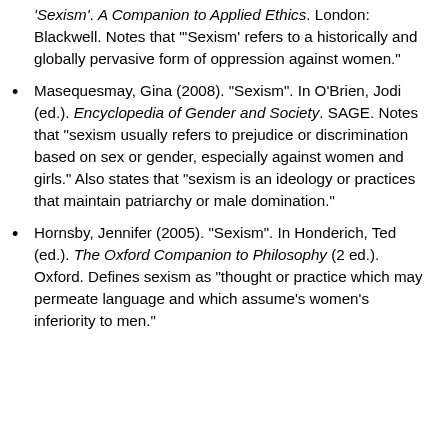'Sexism'. A Companion to Applied Ethics. London: Blackwell. Notes that "'Sexism' refers to a historically and globally pervasive form of oppression against women."
Masequesmay, Gina (2008). "Sexism". In O'Brien, Jodi (ed.). Encyclopedia of Gender and Society. SAGE. Notes that "sexism usually refers to prejudice or discrimination based on sex or gender, especially against women and girls." Also states that "sexism is an ideology or practices that maintain patriarchy or male domination."
Hornsby, Jennifer (2005). "Sexism". In Honderich, Ted (ed.). The Oxford Companion to Philosophy (2 ed.). Oxford. Defines sexism as "thought or practice which may permeate language and which assume's women's inferiority to men."